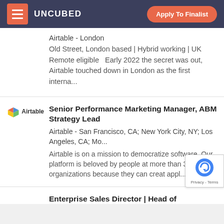UNCUBED   Apply To Finalist
Airtable - London
Old Street, London based | Hybrid working | UK Remote eligible  Early 2022 the secret was out, Airtable touched down in London as the first interna...
Senior Performance Marketing Manager, ABM Strategy Lead
Airtable - San Francisco, CA; New York City, NY; Los Angeles, CA; Mo...
Airtable is on a mission to democratize software. Our platform is beloved by people at more than 300,000 organizations because they can creat appl...
Enterprise Sales Director | Head of